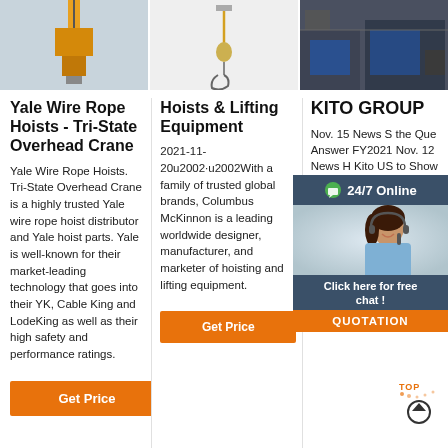[Figure (photo): Three product/company images in a horizontal strip at the top: left shows a yellow wire rope hoist, center shows a hoist hanging in white background, right shows industrial equipment in a factory.]
Yale Wire Rope Hoists - Tri-State Overhead Crane
Yale Wire Rope Hoists. Tri-State Overhead Crane is a highly trusted Yale wire rope hoist distributor and Yale hoist parts. Yale is well-known for their market-leading technology that goes into their YK, Cable King and LodeKing as well as their high safety and performance ratings.
Hoists & Lifting Equipment
2021-11-20u2002·u2002With a family of trusted global brands, Columbus McKinnon is a leading worldwide designer, manufacturer, and marketer of hoisting and lifting equipment.
KITO GROUP
Nov. 15 News S the Que Answer FY2021 Nov. 12 News H Kito US to Show 2021(29 10.2021 FY2021-Q2 Financial Results Presentation Webcast Archive; Nov. 04.2021 IR News Ask IR Officers! 'Fina Results for FY2021-Q2.' Nov. 04.2021 IR News Financial
[Figure (screenshot): 24/7 Online chat widget with agent photo, 'Click here for free chat!' text, and orange QUOTATION button overlay on right side.]